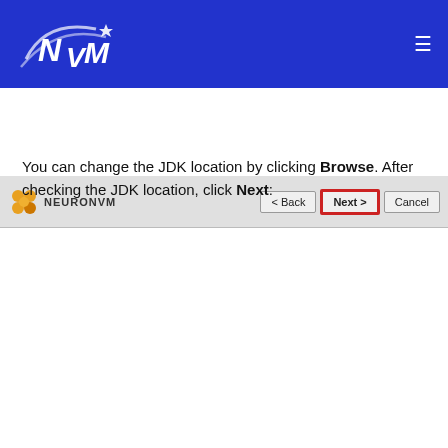[Figure (screenshot): NVM website header banner with blue background, NVM logo on left, hamburger menu icon on right]
[Figure (screenshot): NetBeans installer top bar showing NEURONVM logo, Back, Next (highlighted with red border), and Cancel buttons]
You can change the JDK location by clicking Browse. After checking the JDK location, click Next:
[Figure (screenshot): NetBeans IDE 8.2 Installer window showing installation folder field (C:\Program Files\NetBeans 8.2) with Browse button, JDK field (C:\Program Files\Java\jdk1.8.0_161) with Browse button highlighted in red border. NetBeans IDE logo shown in header. NEURONVM logo and scroll-up arrow button visible at bottom.]